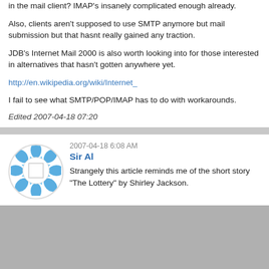in the mail client? IMAP's insanely complicated enough already.
Also, clients aren't supposed to use SMTP anymore but mail submission but that hasnt really gained any traction.
JDB's Internet Mail 2000 is also worth looking into for those interested in alternatives that hasn't gotten anywhere yet.
http://en.wikipedia.org/wiki/Internet_
I fail to see what SMTP/POP/IMAP has to do with workarounds.
Edited 2007-04-18 07:20
2007-04-18 6:08 AM
Sir Al
[Figure (illustration): User avatar for Sir Al: circular avatar with blue snowflake/gear-like decorative border and white square in center]
Strangely this article reminds me of the short story "The Lottery" by Shirley Jackson.